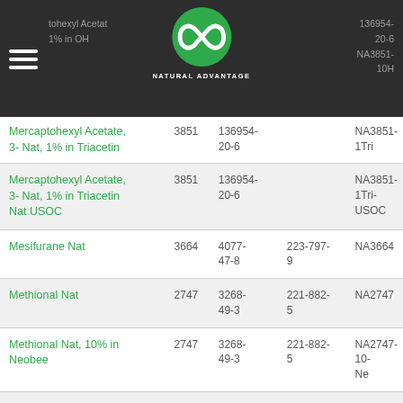Natural Advantage product catalog header with logo
| Product Name | FEMA | CAS | EINECS | Code |
| --- | --- | --- | --- | --- |
| Mercaptohexyl Acetate, 3- Nat, 1% in Triacetin | 3851 | 136954-20-6 |  | NA3851-1Tri |
| Mercaptohexyl Acetate, 3- Nat, 1% in Triacetin Nat USOC | 3851 | 136954-20-6 |  | NA3851-1Tri-USOC |
| Mesifurane Nat | 3664 | 4077-47-8 | 223-797-9 | NA3664 |
| Methional Nat | 2747 | 3268-49-3 | 221-882-5 | NA2747 |
| Methional Nat, 10% in Neobee | 2747 | 3268-49-3 | 221-882-5 | NA2747-10-Ne |
| Methionol Nat | 3415 | 505-10-2 | 208-... | NA3415 |